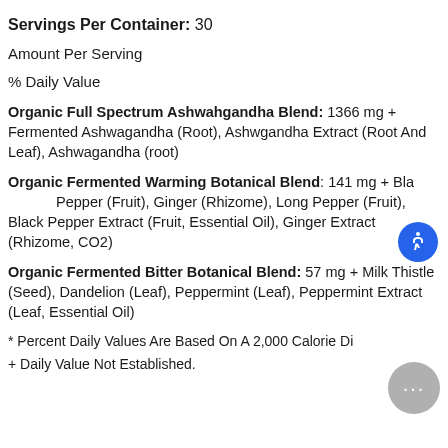Servings Per Container: 30
Amount Per Serving
% Daily Value
Organic Full Spectrum Ashwahgandha Blend: 1366 mg + Fermented Ashwagandha (Root), Ashwgandha Extract (Root And Leaf), Ashwagandha (root)
Organic Fermented Warming Botanical Blend: 141 mg + Black Pepper (Fruit), Ginger (Rhizome), Long Pepper (Fruit), Black Pepper Extract (Fruit, Essential Oil), Ginger Extract (Rhizome, CO2)
Organic Fermented Bitter Botanical Blend: 57 mg + Milk Thistle (Seed), Dandelion (Leaf), Peppermint (Leaf), Peppermint Extract (Leaf, Essential Oil)
* Percent Daily Values Are Based On A 2,000 Calorie Diet.
+ Daily Value Not Established.